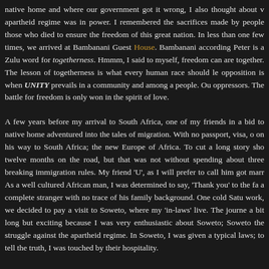native home and where our government got it wrong, I also thought about what the apartheid regime was in power. I remembered the sacrifices made by people like those who died to ensure the freedom of this great nation. In less than one of the few times, we arrived at Bambanani Guest House. Bambanani according to Peter is a Zulu word for togetherness. Hmmm, I said to myself, freedom can only thrive are together. The lesson of togetherness is what every human race should learn. The opposition is when UNITY prevails in a community and among a people. Our oppressors. The battle for freedom is only won in the spirit of love.
A few years before my arrival to South Africa, one of my friends in a bid to escape native home adventured into the tales of migration. With no passport, visa, or papers on his way to South Africa; the new Europe of Africa. To cut a long story short, it took twelve months on the road, but that was not without spending about three months in jail breaking immigration rules. My friend 'U', as I will prefer to call him got married there. As a well cultured African man, I was determined to say, 'Thank you' to the family but I am a complete stranger with no trace of his family background. One cold Saturday after work, we decided to pay a visit to Soweto, where my 'in-laws' live. The journey was a bit long but exciting because I was very enthusiastic about Soweto; Soweto the hub of the struggle against the apartheid regime. In Soweto, I was given a typical welcome by in-laws; to tell the truth, I was touched by their hospitality.